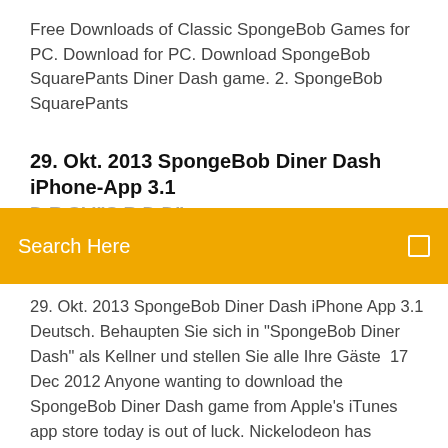Free Downloads of Classic SpongeBob Games for PC. Download for PC. Download SpongeBob SquarePants Diner Dash game. 2. SpongeBob SquarePants
29. Okt. 2013 SpongeBob Diner Dash iPhone-App 3.1 D... R... Si... i "S... B D D"
Search Here
29. Okt. 2013 SpongeBob Diner Dash iPhone App 3.1 Deutsch. Behaupten Sie sich in "SpongeBob Diner Dash" als Kellner und stellen Sie alle Ihre Gäste  17 Dec 2012 Anyone wanting to download the SpongeBob Diner Dash game from Apple's iTunes app store today is out of luck. Nickelodeon has removed Release, PC. NA: December 3, 2004. Nintendo DS. NA: May 13, 2007. Genre(s) · Strategy, Time Management. Mode(s), Single-player. Diner Dash is a strategy video game and time management initially developed by New York given a retail release, and made available via a 100% advertising-supported